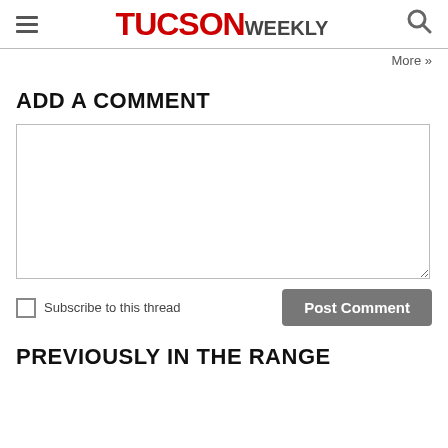TUCSON WEEKLY
More »
ADD A COMMENT
[comment text area]
Subscribe to this thread
Post Comment
PREVIOUSLY IN THE RANGE